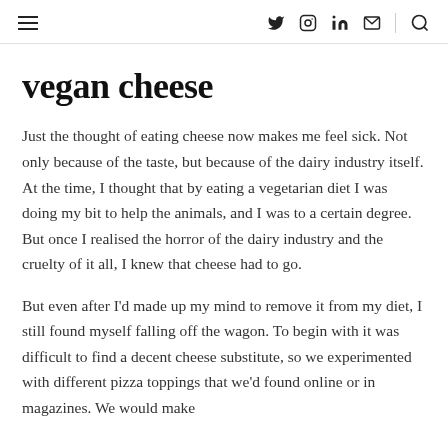≡  (twitter) (instagram) (linkedin) (email) | (search)
vegan cheese
Just the thought of eating cheese now makes me feel sick. Not only because of the taste, but because of the dairy industry itself. At the time, I thought that by eating a vegetarian diet I was doing my bit to help the animals, and I was to a certain degree. But once I realised the horror of the dairy industry and the cruelty of it all, I knew that cheese had to go.
But even after I'd made up my mind to remove it from my diet, I still found myself falling off the wagon. To begin with it was difficult to find a decent cheese substitute, so we experimented with different pizza toppings that we'd found online or in magazines. We would make